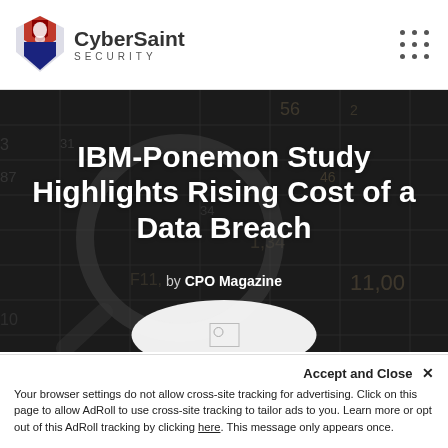[Figure (logo): CyberSaint Security logo with red and navy shield/knight icon and company name]
[Figure (illustration): Navigation dots grid (3x3) menu icon in top right]
IBM-Ponemon Study Highlights Rising Cost of a Data Breach
by CPO Magazine
[Figure (photo): Dark hero background image of magnifying glass over financial spreadsheet numbers]
Accept and Close ✕
Your browser settings do not allow cross-site tracking for advertising. Click on this page to allow AdRoll to use cross-site tracking to tailor ads to you. Learn more or opt out of this AdRoll tracking by clicking here. This message only appears once.